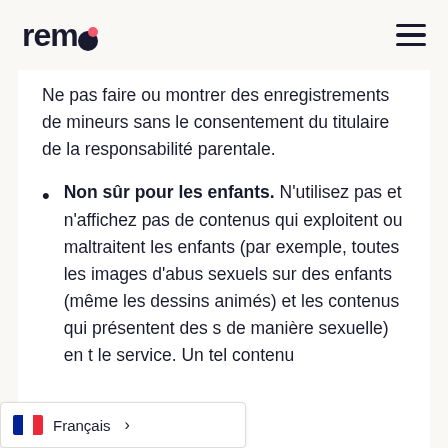remo
Ne pas faire ou montrer des enregistrements de mineurs sans le consentement du titulaire de la responsabilité parentale.
Non sûr pour les enfants. N'utilisez pas et n'affichez pas de contenus qui exploitent ou maltraitent les enfants (par exemple, toutes les images d'abus sexuels sur des enfants (même les dessins animés) et les contenus qui présentent des [mineurs] de manière sexuelle) en [utilisant] le service. Un tel contenu…